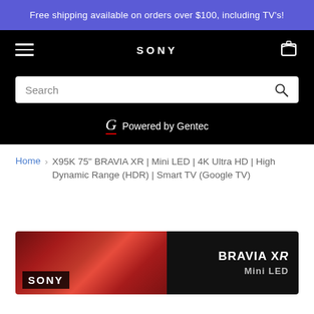Free shipping available on orders over $100, including TV's!
[Figure (screenshot): Sony store navigation bar with hamburger menu, SONY logo, and cart icon on black background]
[Figure (screenshot): Search bar on black background with search icon]
Powered by Gentec
Home > X95K 75" BRAVIA XR | Mini LED | 4K Ultra HD | High Dynamic Range (HDR) | Smart TV (Google TV)
[Figure (photo): Sony BRAVIA XR Mini LED TV product image showing red backlit display with Sony logo badge and BRAVIA XR Mini LED text]